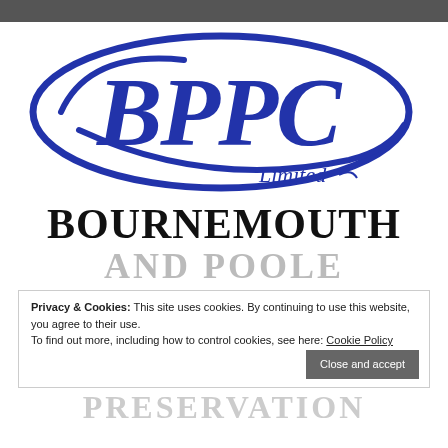[Figure (logo): BPPC Limited logo — blue ellipse outline with large italic serif letters BPPC inside and 'Limited' in smaller italic script below-right]
BOURNEMOUTH
AND POOLE
PRESERVATION
Privacy & Cookies: This site uses cookies. By continuing to use this website, you agree to their use.
To find out more, including how to control cookies, see here: Cookie Policy
Close and accept